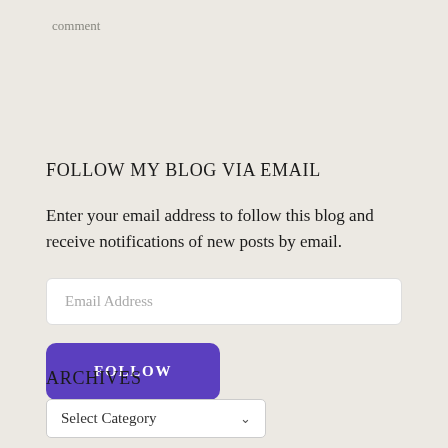comment
FOLLOW MY BLOG VIA EMAIL
Enter your email address to follow this blog and receive notifications of new posts by email.
Email Address
FOLLOW
ARCHIVES
Select Category